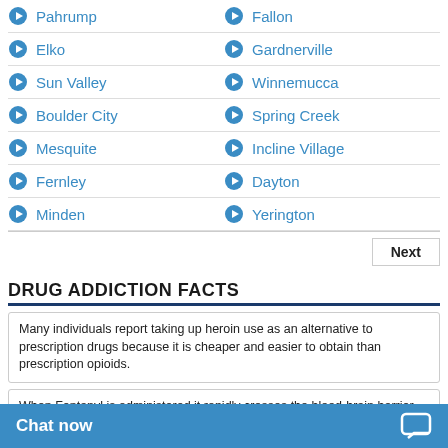Pahrump, Fallon
Elko, Gardnerville
Sun Valley, Winnemucca
Boulder City, Spring Creek
Mesquite, Incline Village
Fernley, Dayton
Minden, Yerington
DRUG ADDICTION FACTS
Many individuals report taking up heroin use as an alternative to prescription drugs because it is cheaper and easier to obtain than prescription opioids.
When Fentanyl is administered it rapidly crosses the blood-brain barrier, and when this occurs it produced not only pain relief but also produces sedation and varying levels of respiratory depression, as well as nausea, and vomiting in some cases.
Inpatient drug rehabilitations of therapies, designed to address present state of transitioning in